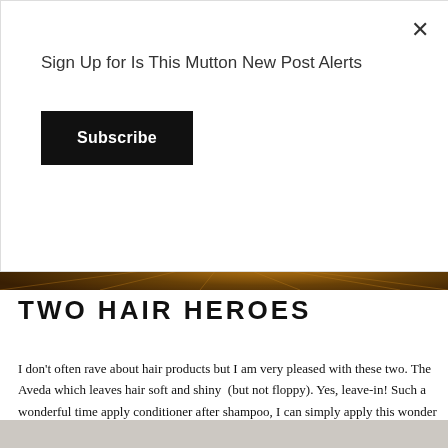Sign Up for Is This Mutton New Post Alerts
Subscribe
[Figure (photo): Close-up of hair or fur with warm brown and golden tones, radiating outward from center]
TWO HAIR HEROES
I don't often rave about hair products but I am very pleased with these two.  The Aveda which leaves hair soft and shiny  (but not floppy). Yes, leave-in! Such a wonderful time apply conditioner after shampoo, I can simply apply this wonder product, comb it through
Color Wow Dream Coat Supernatural Spray is a product I would never be without.  It's don't think sells it at all well.  I would never have bought it with that description but was g bought a bottle. I find it gives my hair body and shape, and helps it hold the shape. It's lo every time I washed my hair but it's true. It's activated by heat so you need to use a hairdry
[Figure (other): Light grey/beige background section at bottom of page]
×